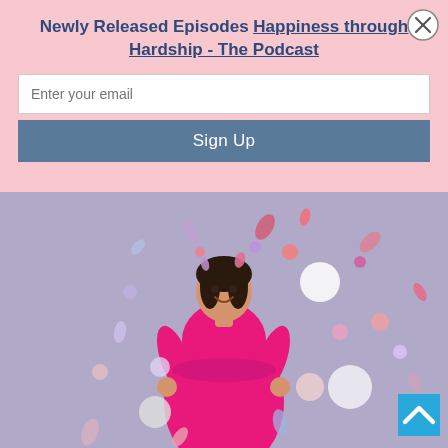Newly Released Episodes Happiness through Hardship - The Podcast
[Figure (photo): Woman in bright pink dress smiling, surrounded by colorful confetti on a lavender/purple background]